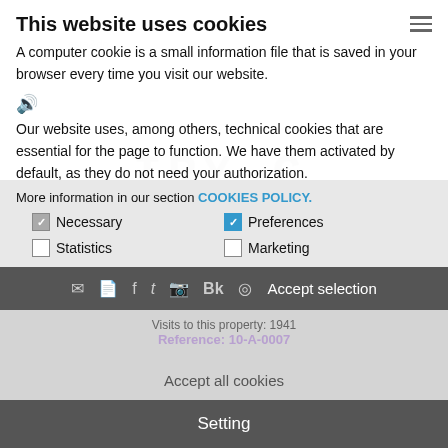This website uses cookies
A computer cookie is a small information file that is saved in your browser every time you visit our website.
Our website uses, among others, technical cookies that are essential for the page to function. We have them activated by default, as they do not need your authorization.
More information in our section COOKIES POLICY.
Necessary  [checked]   Preferences [checked]
Statistics [unchecked]  Marketing  [unchecked]
Accept selection
Visits to this property: 1941
Accept all cookies
Setting